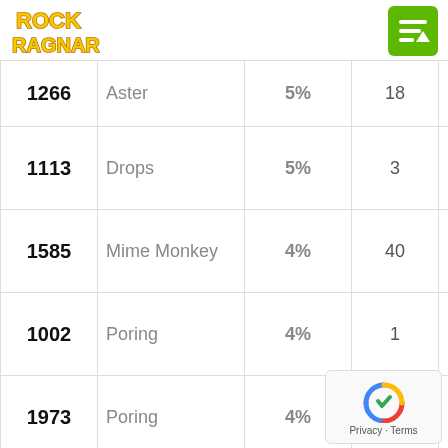Rock Ragnarok
| ID | Name | Rate | Amount | Type |
| --- | --- | --- | --- | --- |
| 1266 | Aster | 5% | 18 | Fish |
| 1113 | Drops | 5% | 3 | Plant |
| 1585 | Mime Monkey | 4% | 40 | Plant |
| 1002 | Poring | 4% | 1 | Plant |
| 1973 | Poring | 4% | 1 | Plant |